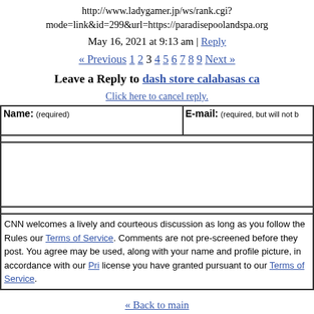http://www.ladygamer.jp/ws/rank.cgi?mode=link&id=299&url=https://paradisepoolandspa.org
May 16, 2021 at 9:13 am | Reply
« Previous 1 2 3 4 5 6 7 8 9 Next »
Leave a Reply to dash store calabasas ca
Click here to cancel reply.
| Name: (required) | E-mail: (required, but will not be published) |
| --- | --- |
|   |   |
CNN welcomes a lively and courteous discussion as long as you follow the Rules of Conduct set forth in our Terms of Service. Comments are not pre-screened before they post. You agree that anything you post may be used, along with your name and profile picture, in accordance with our Privacy Policy and the license you have granted pursuant to our Terms of Service.
« Back to main